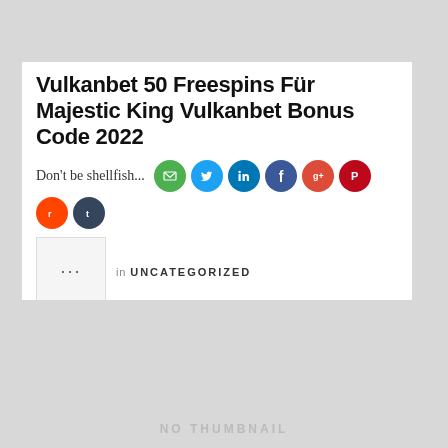Vulkanbet 50 Freespins Für Majestic King Vulkanbet Bonus Code 2022
Don't be shellfish...
[Figure (infographic): Social share icons: email (green), Twitter (blue), LinkedIn (blue), Facebook (dark blue), Google+ (red), Pinterest (red), Reddit (orange-red), Tumblr (dark blue)]
in UNCATEGORIZED
[Figure (photo): NO THUMBNAIL placeholder image in light gray]